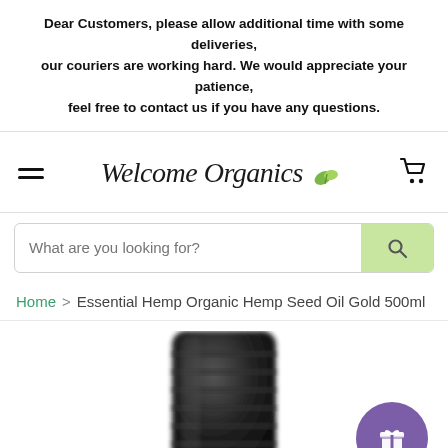Dear Customers, please allow additional time with some deliveries, our couriers are working hard. We would appreciate your patience, feel free to contact us if you have any questions.
[Figure (logo): Welcome Organics logo with green leaf icon and italic script text]
What are you looking for?
Home > Essential Hemp Organic Hemp Seed Oil Gold 500ml
[Figure (photo): Top portion of a dark bottle cap/cap of Essential Hemp Organic Hemp Seed Oil Gold 500ml product, blurred/defocused. A purple circle rewards button with gift icon is in the lower right.]